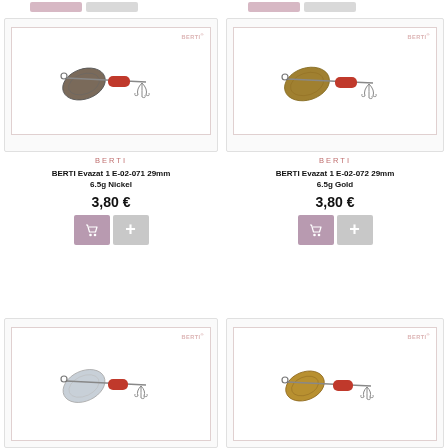[Figure (photo): BERTI Evazat 1 E-02-071 product card showing a nickel fishing spinner lure with dark blade]
BERTI
BERTI Evazat 1 E-02-071 29mm 6.5g Nickel
3,80 €
[Figure (photo): BERTI Evazat 1 E-02-072 product card showing a gold fishing spinner lure with gold blade]
BERTI
BERTI Evazat 1 E-02-072 29mm 6.5g Gold
3,80 €
[Figure (photo): BERTI fishing spinner lure product card bottom left - silver/chrome blade with red body]
[Figure (photo): BERTI fishing spinner lure product card bottom right - gold blade with red body]